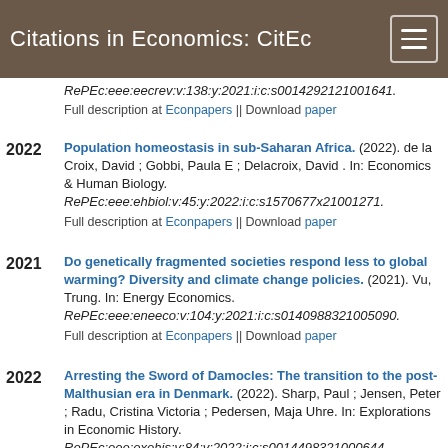Citations in Economics: CitEc
RePEc:eee:eecrev:v:138:y:2021:i:c:s0014292121001641.
Full description at Econpapers || Download paper
Population homeostasis in sub-Saharan Africa. (2022). de la Croix, David ; Gobbi, Paula E ; Delacroix, David . In: Economics & Human Biology. RePEc:eee:ehbiol:v:45:y:2022:i:c:s1570677x21001271.
Full description at Econpapers || Download paper
Do genetically fragmented societies respond less to global warming? Diversity and climate change policies. (2021). Vu, Trung. In: Energy Economics. RePEc:eee:eneeco:v:104:y:2021:i:c:s0140988321005090.
Full description at Econpapers || Download paper
Arresting the Sword of Damocles: The transition to the post-Malthusian era in Denmark. (2022). Sharp, Paul ; Jensen, Peter ; Radu, Cristina Victoria ; Pedersen, Maja Uhre. In: Explorations in Economic History. RePEc:eee:exehis:v:84:y:2022:i:c:s0014498321000644.